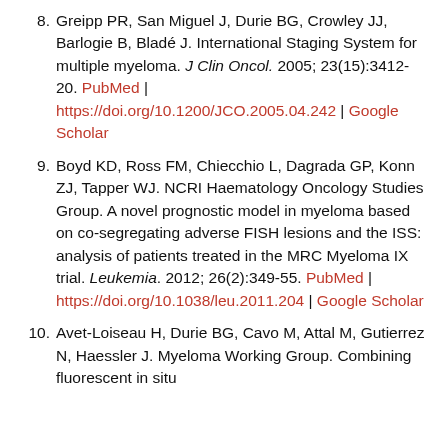8. Greipp PR, San Miguel J, Durie BG, Crowley JJ, Barlogie B, Bladé J. International Staging System for multiple myeloma. J Clin Oncol. 2005; 23(15):3412-20. PubMed | https://doi.org/10.1200/JCO.2005.04.242 | Google Scholar
9. Boyd KD, Ross FM, Chiecchio L, Dagrada GP, Konn ZJ, Tapper WJ. NCRI Haematology Oncology Studies Group. A novel prognostic model in myeloma based on co-segregating adverse FISH lesions and the ISS: analysis of patients treated in the MRC Myeloma IX trial. Leukemia. 2012; 26(2):349-55. PubMed | https://doi.org/10.1038/leu.2011.204 | Google Scholar
10. Avet-Loiseau H, Durie BG, Cavo M, Attal M, Gutierrez N, Haessler J. Myeloma Working Group. Combining fluorescent in situ